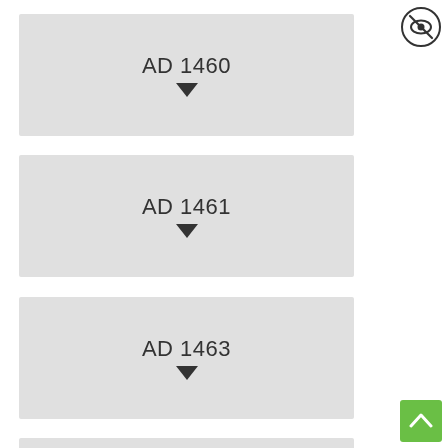AD 1460
AD 1461
AD 1463
AD 1472
[Figure (other): Eye with slash icon in a circle (hide/show toggle button), top right corner]
[Figure (other): Green scroll-to-top button with upward chevron arrow, bottom right corner]